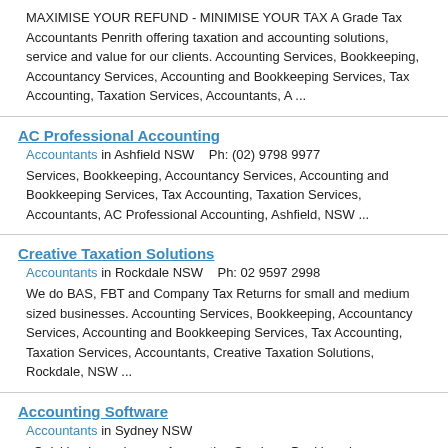MAXIMISE YOUR REFUND - MINIMISE YOUR TAX A Grade Tax Accountants Penrith offering taxation and accounting solutions, service and value for our clients. Accounting Services, Bookkeeping, Accountancy Services, Accounting and Bookkeeping Services, Tax Accounting, Taxation Services, Accountants, A ...
AC Professional Accounting
Accountants in Ashfield NSW    Ph: (02) 9798 9977
Services, Bookkeeping, Accountancy Services, Accounting and Bookkeeping Services, Tax Accounting, Taxation Services, Accountants, AC Professional Accounting, Ashfield, NSW ...
Creative Taxation Solutions
Accountants in Rockdale NSW    Ph: 02 9597 2998
We do BAS, FBT and Company Tax Returns for small and medium sized businesses. Accounting Services, Bookkeeping, Accountancy Services, Accounting and Bookkeeping Services, Tax Accounting, Taxation Services, Accountants, Creative Taxation Solutions, Rockdale, NSW ...
Accounting Software
Accountants in Sydney NSW
. Quickbooks and more. Accounting Services, Bookkeeping, Accountancy Services, Accounting and Bookkeeping Services, Tax Accounting, Taxation Services, Accountants, Accounting Software, Sydney, NSW